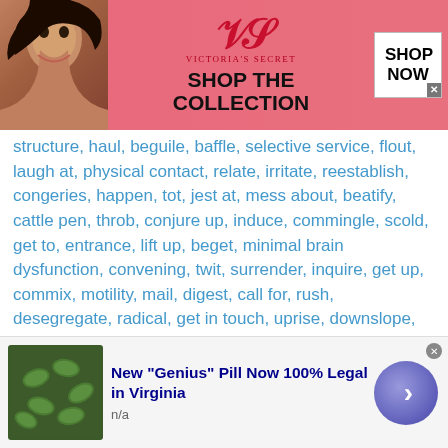[Figure (photo): Victoria's Secret advertisement banner with a woman model, VS logo, 'SHOP THE COLLECTION' text, and 'SHOP NOW' button]
structure, haul, beguile, baffle, selective service, flout, laugh at, physical contact, relate, irritate, reestablish, congeries, happen, tot, jest at, mess about, beatify, cattle pen, throb, conjure up, induce, commingle, scold, get to, entrance, lift up, beget, minimal brain dysfunction, convening, twit, surrender, inquire, get up, commix, motility, mail, digest, call for, rush, desegregate, radical, get in touch, uprise, downslope, blast, teasing, consistence, go back, gimmick, quiver, chevy, annoy, hoi polloi, direct, burden, vamp, form, hitch, kyd, disappointed, beleaguer, carry, great deal, sport, exact, fix, recoup, light upon, board, secure, film, solicitation, appeal, have, fulfil, cheer, hagridden, daunted, bursting charge, slew, wad, convalesce, call off, crepuscle, assembling, charter, twist
[Figure (photo): Advertisement for 'New Genius Pill Now 100% Legal in Virginia' showing green pills image with arrow button]